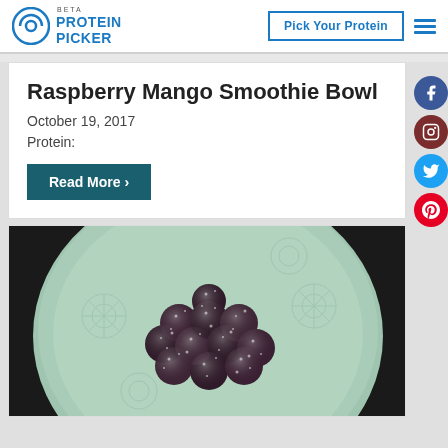PROTEIN PICKER BETA — Pick Your Protein
Raspberry Mango Smoothie Bowl
October 19, 2017
Protein:
Read More >
[Figure (photo): Frozen raspberries dusted with frost/sugar on a pale green ceramic plate with floral embossed pattern, photographed from above on a dark background]